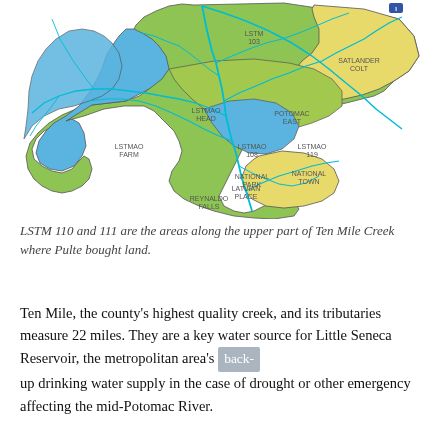[Figure (map): Watershed map showing sub-basin areas (LSTMs) of Ten Mile Creek and its tributaries. Colored regions: blue (LSTM areas), green (upper watershed), yellow (lower/eastern areas). Cyan lines represent streams and tributaries overlaid on the colored sub-basin polygons. Various LSTM labels visible on the map regions.]
LSTM 110 and 111 are the areas along the upper part of Ten Mile Creek where Pulte bought land.
Ten Mile, the county's highest quality creek, and its tributaries measure 22 miles. They are a key water source for Little Seneca Reservoir, the metropolitan area's back-up drinking water supply in the case of drought or other emergency affecting the mid-Potomac River.